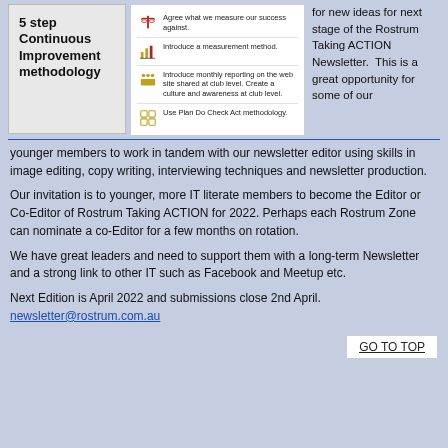[Figure (infographic): 5 step Continuous Improvement methodology infographic with icons and steps]
for new ideas for next stage of the Rostrum Taking ACTION Newsletter. This is a great opportunity for some of our younger members to work in tandem with our newsletter editor using skills in image editing, copy writing, interviewing techniques and newsletter production.
Our invitation is to younger, more IT literate members to become the Editor or Co-Editor of Rostrum Taking ACTION for 2022. Perhaps each Rostrum Zone can nominate a co-Editor for a few months on rotation.
We have great leaders and need to support them with a long-term Newsletter and a strong link to other IT such as Facebook and Meetup etc.
Next Edition is April 2022 and submissions close 2nd April.
newsletter@rostrum.com.au
GO TO TOP